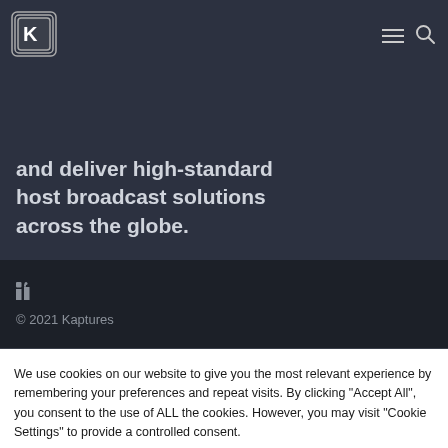[Figure (logo): Kaptures logo — stylized K in a layered square frame]
and deliver high-standard host broadcast solutions across the globe.
[Figure (infographic): LinkedIn icon in dark footer area]
© 2021 Kaptures
We use cookies on our website to give you the most relevant experience by remembering your preferences and repeat visits. By clicking "Accept All", you consent to the use of ALL the cookies. However, you may visit "Cookie Settings" to provide a controlled consent.